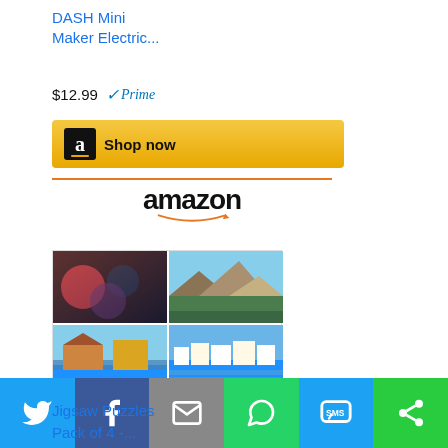DASH Mini Maker Electric...
$12.99 ✓Prime
[Figure (screenshot): Amazon Shop now button with golden background and Amazon 'a' logo icon]
[Figure (logo): Amazon logo with orange smile arrow]
[Figure (photo): 4-pack jigsaw puzzle product image grid showing nature and landscape scenes with PACK of 4 label]
Jigsaw Puzzles Pack of 4 -...
[Figure (screenshot): Amazon Shop now button with golden background and Amazon 'a' logo icon]
[Figure (logo): Amazon logo with orange smile arrow]
[Figure (infographic): Social sharing bar with Twitter, Facebook, Email, WhatsApp, SMS, and share icons]